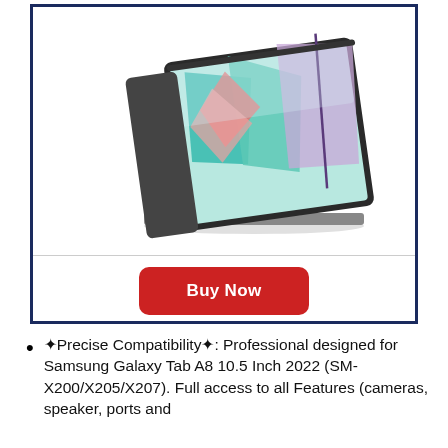[Figure (photo): Samsung Galaxy Tab A8 10.5 Inch tablet in a folio case with a colorful marble/abstract art design on the screen, shown in landscape orientation propped up at an angle with a stylus resting in front.]
Buy Now
✦Precise Compatibility✦: Professional designed for Samsung Galaxy Tab A8 10.5 Inch 2022 (SM-X200/X205/X207). Full access to all Features (cameras, speaker, ports and